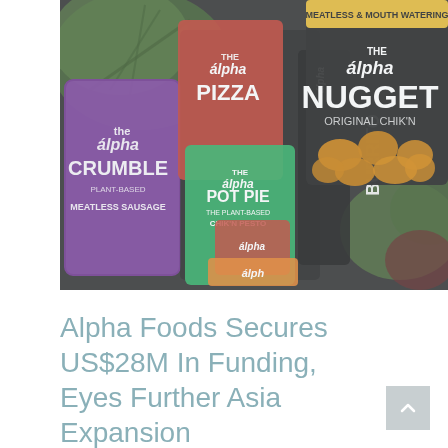[Figure (photo): A variety of Alpha Foods plant-based product packages arranged together, including Alpha Crumble (purple, meatless sausage), Alpha Pizza, Alpha Pot Pie (green, plant-based, chik'n pesto), Alpha Burrito, Alpha Nugget (original chik'n, meatless & mouth watering), and other Alpha brand products with vegetables in the background.]
Alpha Foods Secures US$28M In Funding, Eyes Further Asia Expansion